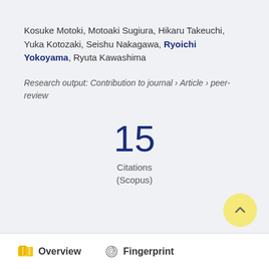Kosuke Motoki, Motoaki Sugiura, Hikaru Takeuchi, Yuka Kotozaki, Seishu Nakagawa, Ryoichi Yokoyama, Ryuta Kawashima
Research output: Contribution to journal › Article › peer-review
15 Citations (Scopus)
Overview   Fingerprint